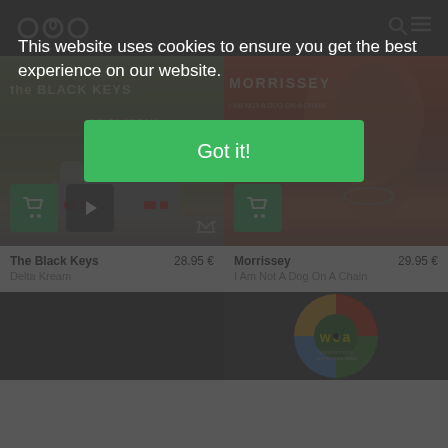This website uses cookies to ensure you get the best experience on our website.
Got it!
[Figure (photo): The Black Keys - Delta Kream album cover showing a car from behind on a road, with band name text overlay]
The Black Keys
Delta Kream
28.95 €
[Figure (photo): Morrissey - I Am Not A Dog On A Chain album cover showing a close-up portrait, with text overlay]
Morrissey
I Am Not A Dog On A Chain
29.95 €
[Figure (photo): Dark album cover, partially visible at bottom of page]
[Figure (photo): WEA label record, showing a vinyl record with WEA branding in yellow text on green/colorful background]